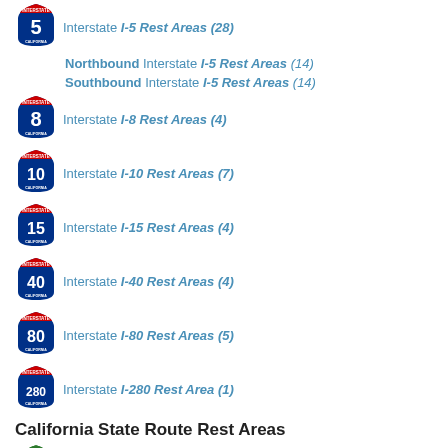Interstate I-5 Rest Areas (28)
Northbound Interstate I-5 Rest Areas (14)
Southbound Interstate I-5 Rest Areas (14)
Interstate I-8 Rest Areas (4)
Interstate I-10 Rest Areas (7)
Interstate I-15 Rest Areas (4)
Interstate I-40 Rest Areas (4)
Interstate I-80 Rest Areas (5)
Interstate I-280 Rest Area (1)
California State Route Rest Areas